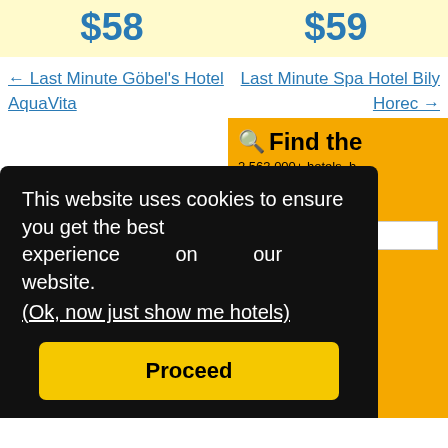$58   $59
← Last Minute Göbel's Hotel AquaVita
Last Minute Spa Hotel Bily Horec →
[Figure (screenshot): Yellow booking widget showing 'Find the' with search icon, '2,563,000+ hotels, h... unique places to stay', Destination/Property label, input field with placeholder 'e.g. city, region, d', and partial date/rate fields below.]
This website uses cookies to ensure you get the best experience on our website. (Ok, now just show me hotels)
Proceed